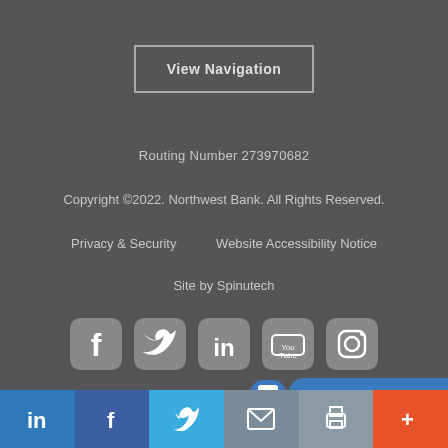View Navigation
Routing Number 273970682
Copyright ©2022. Northwest Bank. All Rights Reserved.
Privacy & Security     Website Accessibility Notice
Site by Spinutech
[Figure (other): Social media icons: Facebook, Twitter, LinkedIn, YouTube, Instagram]
Call 800-67...
Calculate how
LinkedIn | Facebook | Twitter | Email | Print | More